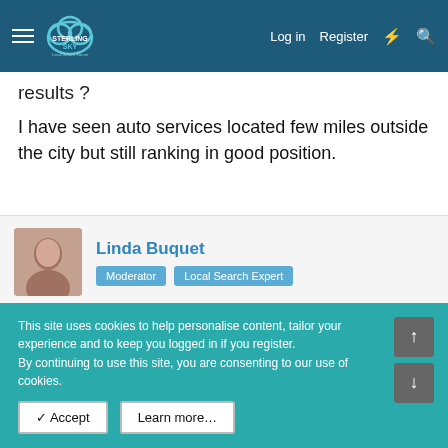Sterling Sky Local Search Forum — Log in | Register
results ?
I have seen auto services located few miles outside the city but still ranking in good position.
Linda Buquet — Moderator, Local Search Expert
Nov 27, 2012  #15
I think it totally depends on keyword competition in that city.
This site uses cookies to help personalise content, tailor your experience and to keep you logged in if you register.
By continuing to use this site, you are consenting to our use of cookies.